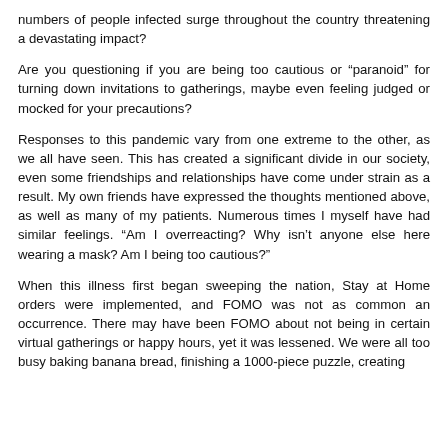numbers of people infected surge throughout the country threatening a devastating impact?
Are you questioning if you are being too cautious or “paranoid” for turning down invitations to gatherings, maybe even feeling judged or mocked for your precautions?
Responses to this pandemic vary from one extreme to the other, as we all have seen. This has created a significant divide in our society, even some friendships and relationships have come under strain as a result. My own friends have expressed the thoughts mentioned above, as well as many of my patients. Numerous times I myself have had similar feelings. “Am I overreacting? Why isn’t anyone else here wearing a mask? Am I being too cautious?”
When this illness first began sweeping the nation, Stay at Home orders were implemented, and FOMO was not as common an occurrence. There may have been FOMO about not being in certain virtual gatherings or happy hours, yet it was lessened. We were all too busy baking banana bread, finishing a 1000-piece puzzle, creating